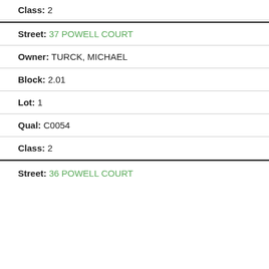Class: 2
Street: 37 POWELL COURT
Owner: TURCK, MICHAEL
Block: 2.01
Lot: 1
Qual: C0054
Class: 2
Street: 36 POWELL COURT